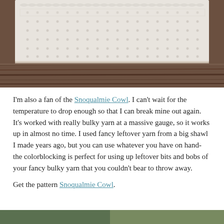[Figure (photo): Close-up photo of a white knitted cowl/fabric with a textured stitch pattern, resting on a dark wooden surface.]
I'm also a fan of the Snoqualmie Cowl. I can't wait for the temperature to drop enough so that I can break mine out again. It's worked with really bulky yarn at a massive gauge, so it works up in almost no time. I used fancy leftover yarn from a big shawl I made years ago, but you can use whatever you have on hand- the colorblocking is perfect for using up leftover bits and bobs of your fancy bulky yarn that you couldn't bear to throw away.
Get the pattern Snoqualmie Cowl.
[Figure (photo): Partial view of another knitting photo at the bottom of the page.]